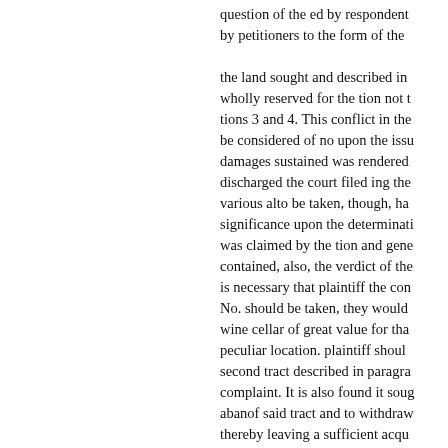question of the ed by respondent by petitioners to the form of the the land sought and described in wholly reserved for the tion not tions 3 and 4. This conflict in the be considered of no upon the issue damages sustained was rendered discharged the court filed ing the various alto be taken, though, has significance upon the determination was claimed by the tion and gene contained, also, the verdict of the is necessary that plaintiff the con No. should be taken, they would wine cellar of great value for tha peculiar location. plaintiff shoul second tract described in paragra complaint. It is also found it soug abanof said tract and to withdraw thereby leaving a sufficient acqu tioners, however, aver that they c 2, and admitted and declared, and